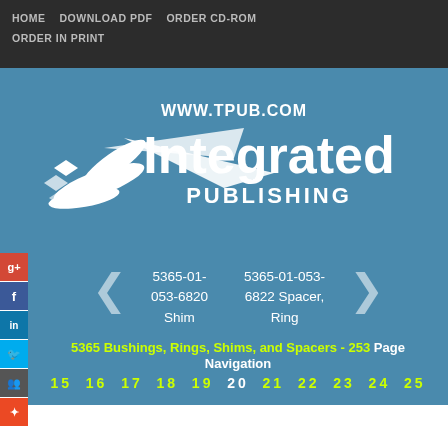HOME   DOWNLOAD PDF   ORDER CD-ROM   ORDER IN PRINT
[Figure (logo): Integrated Publishing logo with bird/arrow graphic and text WWW.TPUB.COM, Integrated PUBLISHING on blue background]
5365-01-053-6820 Shim
5365-01-053-6822 Spacer, Ring
5365 Bushings, Rings, Shims, and Spacers - 253 Page Navigation
15  16  17  18  19  20  21  22  23  24  25